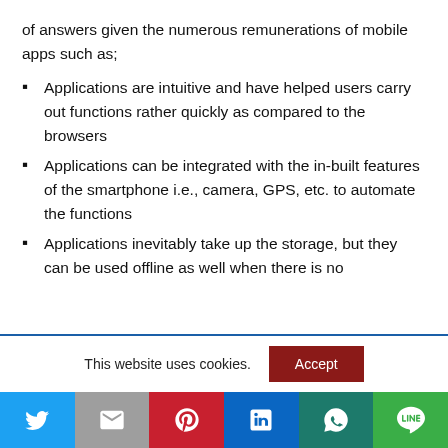of answers given the numerous remunerations of mobile apps such as;
Applications are intuitive and have helped users carry out functions rather quickly as compared to the browsers
Applications can be integrated with the in-built features of the smartphone i.e., camera, GPS, etc. to automate the functions
Applications inevitably take up the storage, but they can be used offline as well when there is no
This website uses cookies.
Social share bar: Twitter, Mail, Pinterest, LinkedIn, WhatsApp, Line